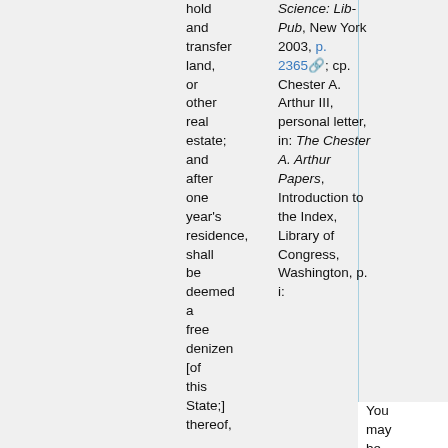hold and transfer land, or other real estate; and after one year's residence, shall be deemed a free denizen [of this State;] thereof,
Science: Lib-Pub, New York 2003, p. 2365; cp. Chester A. Arthur III, personal letter, in: The Chester A. Arthur Papers, Introduction to the Index, Library of Congress, Washington, p. i:
You may be sure that I